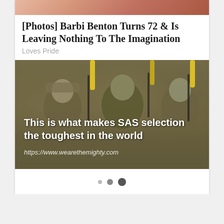[Figure (photo): Partial top photo showing a person, cropped at top of card]
[Photos] Barbi Benton Turns 72 & Is Leaving Nothing To The Imagination
Loves Pride
[Figure (photo): Photo of soldiers in camouflage gear carrying rifles with yellow barrel covers, with overlay text: 'This is what makes SAS selection the toughest in the world' and URL 'https://www.wearethemighty.com']
• • •